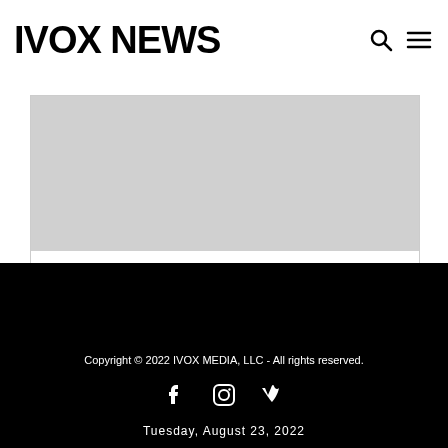IVOX NEWS
Listen in to The Big Band Radio Show, with Rob Dehlinger on KWXY Music Radio
Copyright © 2022 IVOX MEDIA, LLC - All rights reserved.
Tuesday, August 23, 2022